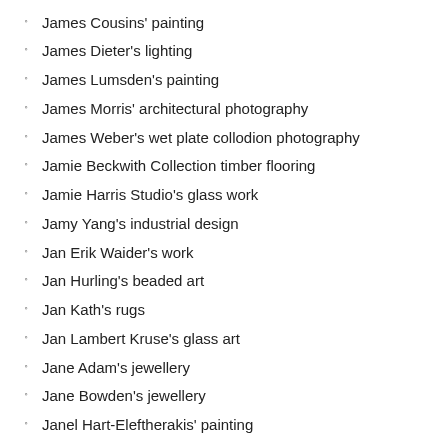James Cousins' painting
James Dieter's lighting
James Lumsden's painting
James Morris' architectural photography
James Weber's wet plate collodion photography
Jamie Beckwith Collection timber flooring
Jamie Harris Studio's glass work
Jamy Yang's industrial design
Jan Erik Waider's work
Jan Hurling's beaded art
Jan Kath's rugs
Jan Lambert Kruse's glass art
Jane Adam's jewellery
Jane Bowden's jewellery
Janel Hart-Eleftherakis' painting
Janice Vitkovsky's glass art
Janna Syvanoja's jewellery & sculpture